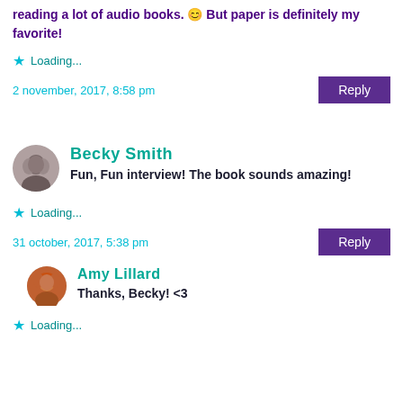reading a lot of audio books. 😊 But paper is definitely my favorite!
Loading...
2 november, 2017, 8:58 pm
Becky Smith
Fun, Fun interview! The book sounds amazing!
Loading...
31 october, 2017, 5:38 pm
Amy Lillard
Thanks, Becky! <3
Loading...